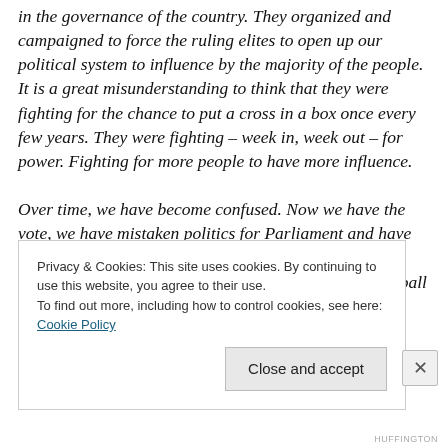in the governance of the country. They organized and campaigned to force the ruling elites to open up our political system to influence by the majority of the people. It is a great misunderstanding to think that they were fighting for the chance to put a cross in a box once every few years. They were fighting – week in, week out – for power. Fighting for more people to have more influence.
Over time, we have become confused. Now we have the vote, we have mistaken politics for Parliament and have come to see democracy as something to watch on television or follow on Twitter, like spectators at a football
Privacy & Cookies: This site uses cookies. By continuing to use this website, you agree to their use.
To find out more, including how to control cookies, see here: Cookie Policy
HUFFINGTON